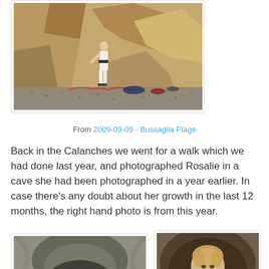[Figure (photo): Photo of a person standing near rocky cliff/beach with climbing gear and equipment on the ground]
From 2009-09-09 - Bussaglia Plage
Back in the Calanches we went for a walk which we had done last year, and photographed Rosalie in a cave she had been photographed in a year earlier. In case there's any doubt about her growth in the last 12 months, the right hand photo is from this year.
[Figure (photo): Photo of people (adults and child) in a cave]
[Figure (photo): Photo of a young girl lying in a cave or rocky hollow]